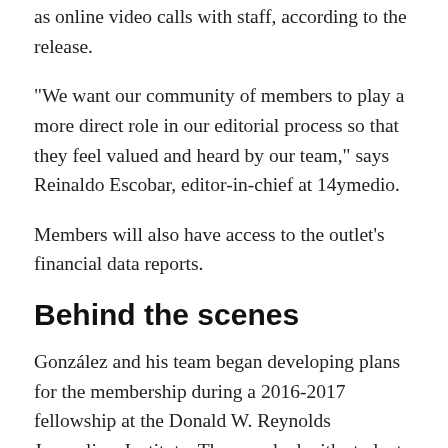as online video calls with staff, according to the release.
“We want our community of members to play a more direct role in our editorial process so that they feel valued and heard by our team,” says Reinaldo Escobar, editor-in-chief at 14ymedio.
Members will also have access to the outlet’s financial data reports.
Behind the scenes
González and his team began developing plans for the membership during a 2016-2017 fellowship at the Donald W. Reynolds Journalism Institute. They worked with students from the Entrepreneurship and Media of the Future class at the Missouri School of Journalism to visualize what a membership model would look like and how to scale it once it was launched.